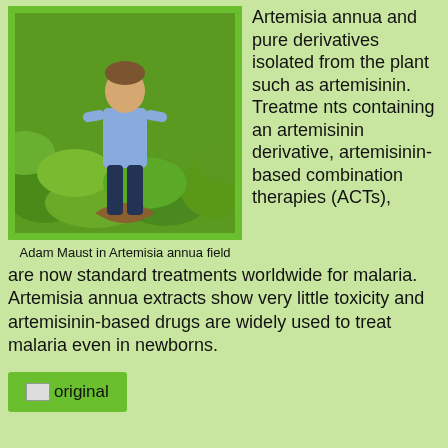[Figure (photo): Photo of Adam Maust standing in an Artemisia annua field, surrounded by green leafy plants. Green border frame around the photo.]
Adam Maust in Artemisia annua field
Artemisia annua and pure derivatives isolated from the plant such as artemisinin. Treatments containing an artemisinin derivative, artemisinin-based combination therapies (ACTs), are now standard treatments worldwide for malaria. Artemisia annua extracts show very little toxicity and artemisinin-based drugs are widely used to treat malaria even in newborns.
[Figure (other): A green button labeled 'original' with a small image icon]